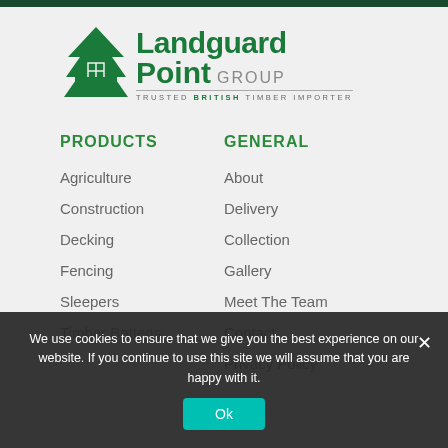[Figure (logo): Landguard Point Group logo with tree icon and tagline 'Trusted British Timber Importer']
PRODUCTS
GENERAL
Agriculture
About
Construction
Delivery
Decking
Collection
Fencing
Gallery
Sleepers
Meet The Team
Timber Battens
Contact
Privacy Policy
We use cookies to ensure that we give you the best experience on our website. If you continue to use this site we will assume that you are happy with it.